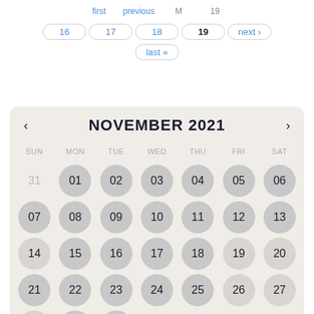[Figure (screenshot): Pagination navigation bar showing page numbers 16, 17, 18, 19, next, and last buttons]
[Figure (other): Calendar widget showing November 2021 with day circles for all dates, days of week header SUN through SAT, navigation arrows, and dates 28-30 for November and 01-04 for December]